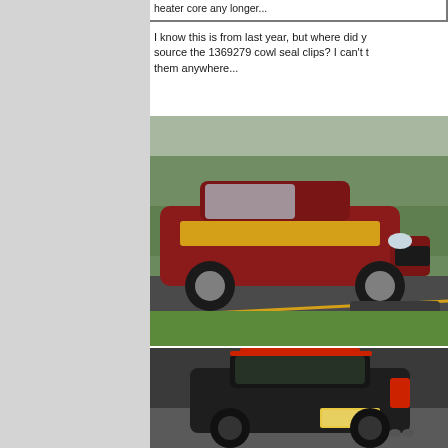heater core any longer...
I know this is from last year, but where did you source the 1369279 cowl seal clips? I can't find them anywhere...
[Figure (photo): Red and yellow classic car on a road with trees in background, another car partially visible behind it]
[Figure (photo): Black hatchback car photographed from the rear quarter, red accents visible]